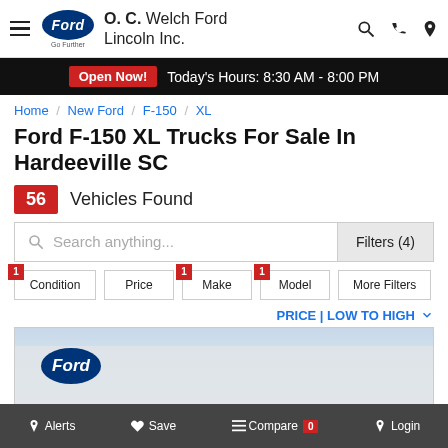O. C. Welch Ford Lincoln Inc.
Open Now! Today's Hours: 8:30 AM - 8:00 PM
Home / New Ford / F-150 / XL
Ford F-150 XL Trucks For Sale In Hardeeville SC
56 Vehicles Found
Search anything...  Filters (4)
1 Condition  Price  1 Make  1 Model  More Filters
PRICE | LOW TO HIGH
[Figure (photo): Ford dealership building exterior with Ford logo badge on white wall under cloudy sky]
Alerts  Save  Compare 0  Login